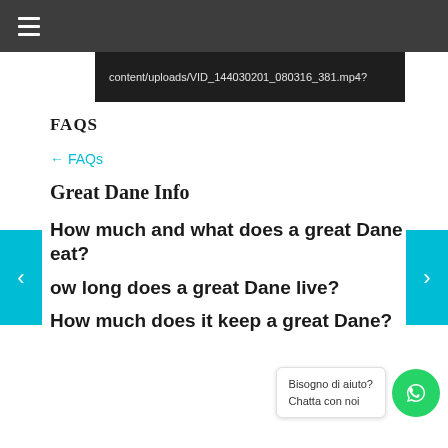☰
content/uploads/VID_144030201_080316_381.mp4?
FAQS
← FAQs
Great Dane Info
How much and what does a great Dane eat?
ow long does a great Dane live?
How much does it keep a great Dane?